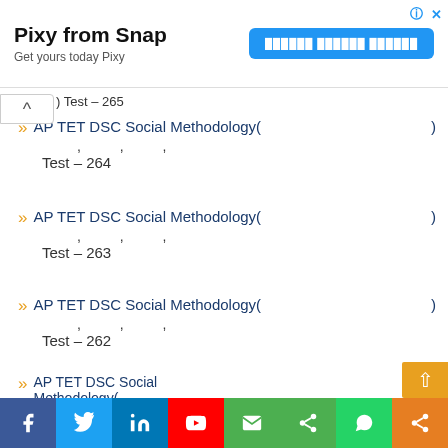[Figure (other): Advertisement banner for Pixy from Snap with blue CTA button]
AP TET DSC Social Methodology( ) Test – 264
AP TET DSC Social Methodology( ) Test – 263
AP TET DSC Social Methodology( ) Test – 262
AP TET DSC Social Methodology( , ) Test – 261
AP TET DSC Social Methodology( , ) Test – 260
[Figure (other): Social media sharing bar with Facebook, Twitter, LinkedIn, YouTube, Email, Google+, WhatsApp, Share buttons]